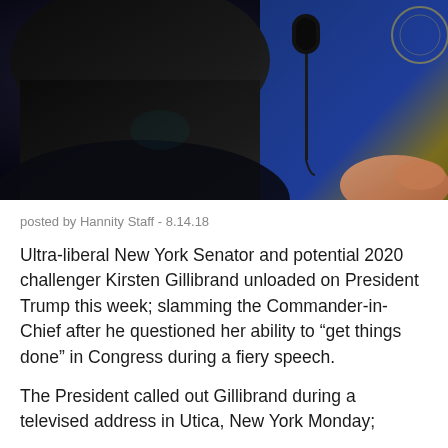[Figure (photo): Dark silhouette of a person gesturing near a microphone stand, with a blue and gold background visible on the right side]
posted by Hannity Staff - 8.14.18
Ultra-liberal New York Senator and potential 2020 challenger Kirsten Gillibrand unloaded on President Trump this week; slamming the Commander-in-Chief after he questioned her ability to “get things done” in Congress during a fiery speech.
The President called out Gillibrand during a televised address in Utica, New York Monday;